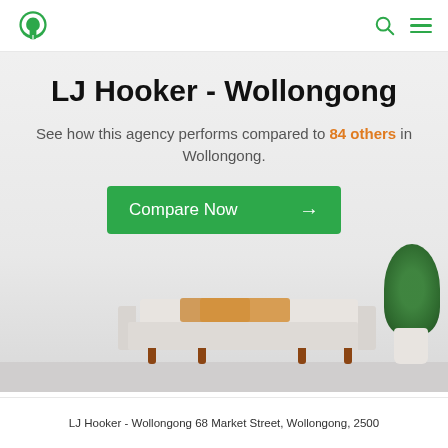LJ Hooker logo, Search, Menu
LJ Hooker - Wollongong
See how this agency performs compared to 84 others in Wollongong.
[Figure (illustration): Green Compare Now button with arrow, and a photorealistic interior scene with a sofa, cushions, and potted plant on a light grey background]
LJ Hooker - Wollongong 68 Market Street, Wollongong, 2500